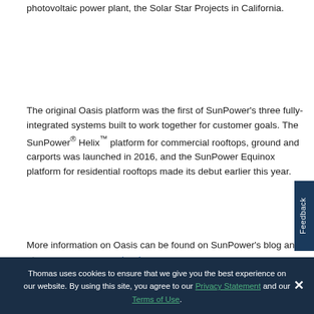photovoltaic power plant, the Solar Star Projects in California.
The original Oasis platform was the first of SunPower’s three fully-integrated systems built to work together for customer goals. The SunPower® Helix™ platform for commercial rooftops, ground and carports was launched in 2016, and the SunPower Equinox platform for residential rooftops made its debut earlier this year.
More information on Oasis can be found on SunPower’s blog and at www.sunpower.com/oasis.
Thomas uses cookies to ensure that we give you the best experience on our website. By using this site, you agree to our Privacy Statement and our Terms of Use.